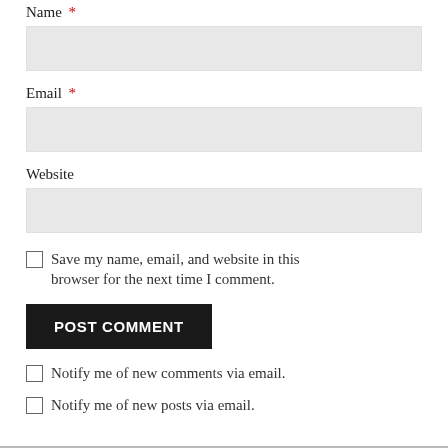Name *
Email *
Website
Save my name, email, and website in this browser for the next time I comment.
POST COMMENT
Notify me of new comments via email.
Notify me of new posts via email.